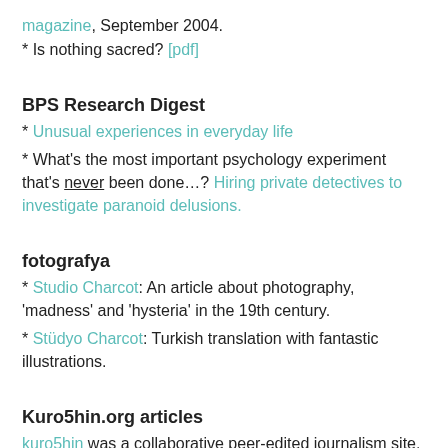magazine, September 2004.
* Is nothing sacred? [pdf]
BPS Research Digest
* Unusual experiences in everyday life
* What's the most important psychology experiment that's never been done…? Hiring private detectives to investigate paranoid delusions.
fotografya
* Studio Charcot: An article about photography, 'madness' and 'hysteria' in the 19th century.
* Stüdyo Charcot: Turkish translation with fantastic illustrations.
Kuro5hin.org articles
kuro5hin was a collaborative peer-edited journalism site.